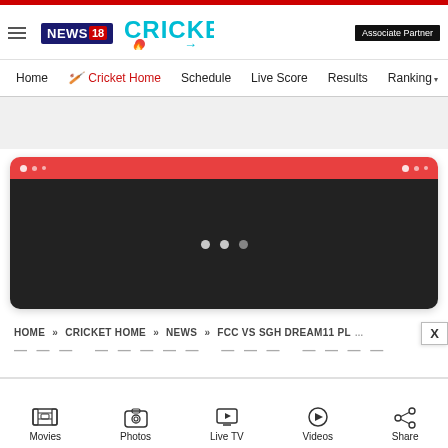NEWS18 CRICKET | Associate Partner
Home | Cricket Home | Schedule | Live Score | Results | Ranking
[Figure (screenshot): Video player card with red title bar and dark body showing loading dots]
HOME » CRICKET HOME » NEWS » FCC VS SGH DREAM11 PL...
Movies | Photos | Live TV | Videos | Share